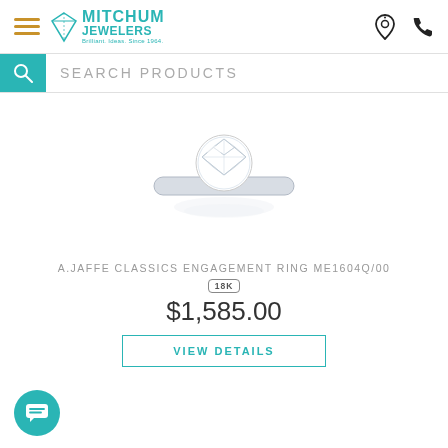Mitchum Jewelers — SEARCH PRODUCTS
[Figure (photo): A solitaire diamond engagement ring with a round brilliant cut diamond set in a four-prong platinum band, photographed on white background with a subtle reflection below.]
A.JAFFE CLASSICS ENGAGEMENT RING ME1604Q/00
18K
$1,585.00
VIEW DETAILS